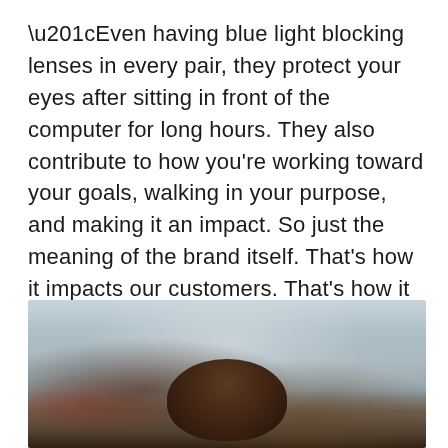“Even having blue light blocking lenses in every pair, they protect your eyes after sitting in front of the computer for long hours. They also contribute to how you’re working toward your goals, walking in your purpose, and making it an impact. So just the meaning of the brand itself. That’s how it impacts our customers. That’s how it impacts the community,” says Nelson.
[Figure (photo): Blurred photograph of a person outdoors with buildings and signage in the background, partially visible from the shoulders up, hand raised toward head.]